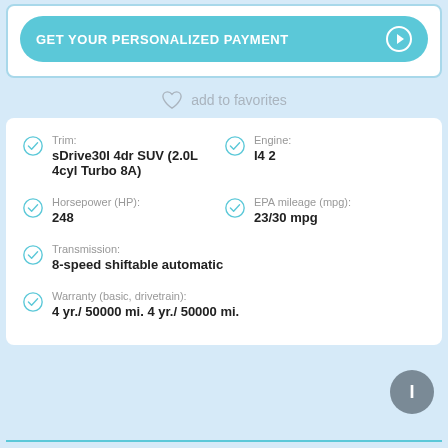GET YOUR PERSONALIZED PAYMENT
add to favorites
| Trim: | sDrive30I 4dr SUV (2.0L 4cyl Turbo 8A) | Engine: | I4 2 |
| Horsepower (HP): | 248 | EPA mileage (mpg): | 23/30 mpg |
| Transmission: | 8-speed shiftable automatic |  |  |
| Warranty (basic, drivetrain): | 4 yr./ 50000 mi. 4 yr./ 50000 mi. |  |  |